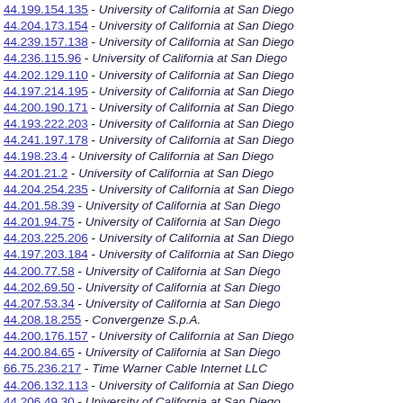44.199.154.135 - University of California at San Diego
44.204.173.154 - University of California at San Diego
44.239.157.138 - University of California at San Diego
44.236.115.96 - University of California at San Diego
44.202.129.110 - University of California at San Diego
44.197.214.195 - University of California at San Diego
44.200.190.171 - University of California at San Diego
44.193.222.203 - University of California at San Diego
44.241.197.178 - University of California at San Diego
44.198.23.4 - University of California at San Diego
44.201.21.2 - University of California at San Diego
44.204.254.235 - University of California at San Diego
44.201.58.39 - University of California at San Diego
44.201.94.75 - University of California at San Diego
44.203.225.206 - University of California at San Diego
44.197.203.184 - University of California at San Diego
44.200.77.58 - University of California at San Diego
44.202.69.50 - University of California at San Diego
44.207.53.34 - University of California at San Diego
44.208.18.255 - Convergenze S.p.A.
44.200.176.157 - University of California at San Diego
44.200.84.65 - University of California at San Diego
66.75.236.217 - Time Warner Cable Internet LLC
44.206.132.113 - University of California at San Diego
44.206.49.30 - University of California at San Diego
44.204.209.190 - University of California at San Diego
44.233.104.85 - University of California at San Diego
44.204.57.38 - University of California at San Diego
44.205.249.230 - University of California at San Diego
44.206.10.247 - University of California at San Diego